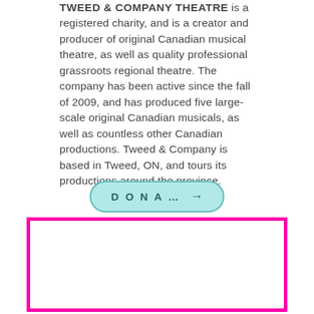TWEED & COMPANY THEATRE is a registered charity, and is a creator and producer of original Canadian musical theatre, as well as quality professional grassroots regional theatre. The company has been active since the fall of 2009, and has produced five large-scale original Canadian musicals, as well as countless other Canadian productions. Tweed & Company is based in Tweed, ON, and tours its productions around the province.
[Figure (other): A rounded pill-shaped button with light teal background and teal border, containing the text 'DONA...' followed by a right-arrow icon, styled as a donation call-to-action button.]
[Figure (other): A rectangular box with a thick magenta/hot-pink border and white interior, appearing to be a placeholder or image frame area.]